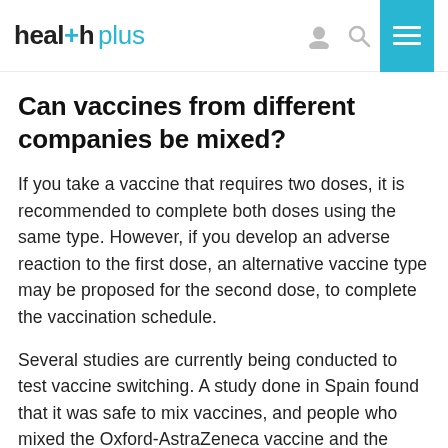health plus
Can vaccines from different companies be mixed?
If you take a vaccine that requires two doses, it is recommended to complete both doses using the same type. However, if you develop an adverse reaction to the first dose, an alternative vaccine type may be proposed for the second dose, to complete the vaccination schedule.
Several studies are currently being conducted to test vaccine switching. A study done in Spain found that it was safe to mix vaccines, and people who mixed the Oxford-AstraZeneca vaccine and the Pfizer-BioNTech vaccine reported a much stronger immune response than those who received two doses of the AstraZeneca vaccine alone. However, more studies need to be